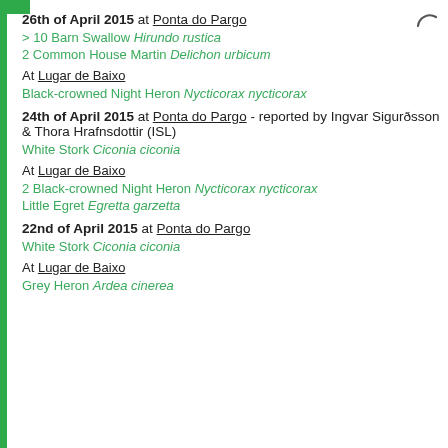26th of April 2015 at Ponta do Pargo
> 10 Barn Swallow Hirundo rustica
2 Common House Martin Delichon urbicum
At Lugar de Baixo
Black-crowned Night Heron Nycticorax nycticorax
24th of April 2015 at Ponta do Pargo - reported by Ingvar Sigurðsson & Thora Hrafnsdottir (ISL)
White Stork Ciconia ciconia
At Lugar de Baixo
2 Black-crowned Night Heron Nycticorax nycticorax
Little Egret Egretta garzetta
22nd of April 2015 at Ponta do Pargo
White Stork Ciconia ciconia
At Lugar de Baixo
Grey Heron Ardea cinerea